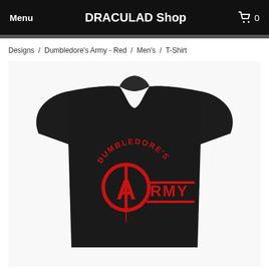Menu   DRACULAD Shop   0
Designs / Dumbledore's Army - Red / Men's / T-Shirt
[Figure (photo): Black t-shirt with red Dumbledore's Army anarchy logo design printed on the chest. The design features the anarchy symbol (A in a circle) combined with the text 'DUMBLEDORE'S ARMY' in red.]